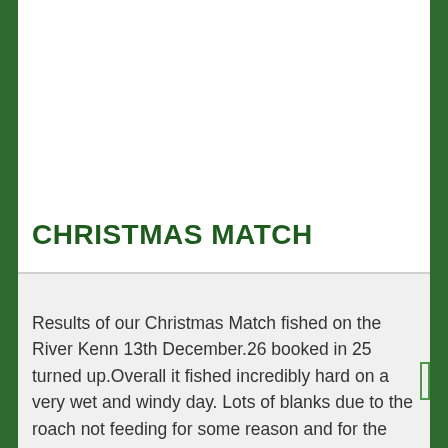CHRISTMAS MATCH
Results of our Christmas Match fished on the River Kenn 13th December.26 booked in 25 turned up.Overall it fished incredibly hard on a very wet and windy day. Lots of blanks due to the roach not feeding for some reason and for the first time in years a couple of Flounders were caught.